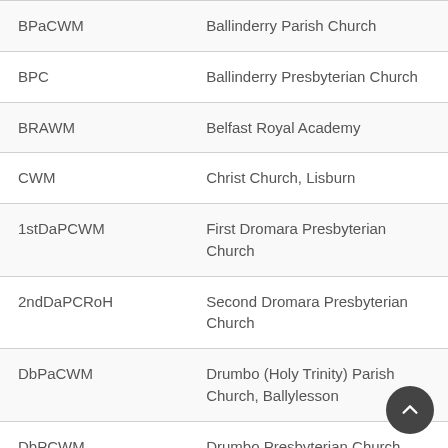| Abbreviation | Full Name |
| --- | --- |
| BPaCWM | Ballinderry Parish Church |
| BPC | Ballinderry Presbyterian Church |
| BRAWM | Belfast Royal Academy |
| CWM | Christ Church, Lisburn |
| 1stDaPCWM | First Dromara Presbyterian Church |
| 2ndDaPCRoH | Second Dromara Presbyterian Church |
| DbPaCWM | Drumbo (Holy Trinity) Parish Church, Ballylesson |
| DbPCWM | Drumbo Presbyterian Church |